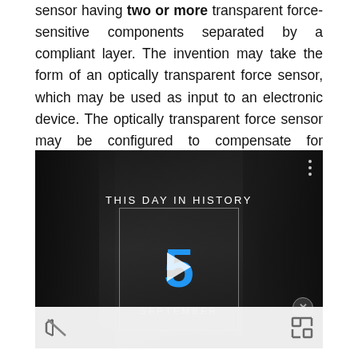sensor having two or more transparent force-sensitive components separated by a compliant layer. The invention may take the form of an optically transparent force sensor, which may be used as input to an electronic device. The optically transparent force sensor may be configured to compensate for variations in temperature using two or more force-sensitive layers that are disposed on opposite sides of a compliant layer.
[Figure (screenshot): A video player screenshot showing a 'This Day in History' segment with a large blue number 5, a play button, and 'SEPTEMBER' text below, overlaid on a dark grayscale background with figures. Bottom bar shows mute and fullscreen controls.]